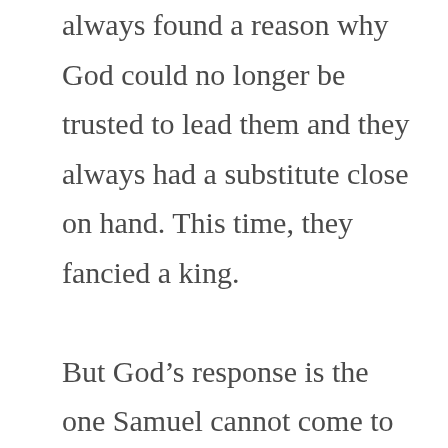always found a reason why God could no longer be trusted to lead them and they always had a substitute close on hand. This time, they fancied a king.

But God’s response is the one Samuel cannot come to terms with. “Give them what they want,” is essentially the answer, and you can tell from the story Samuel isn’t quite willing to accept that’s what God really has to say about the matter. God doesn’t protest, not really. Why doesn’t he